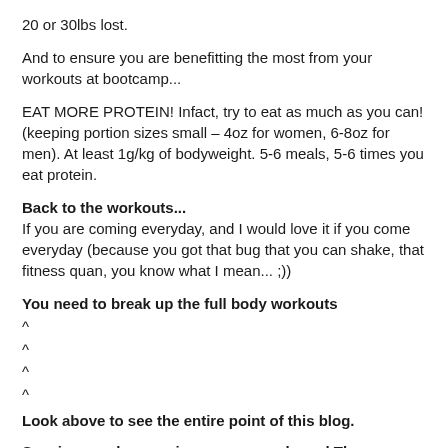20 or 30lbs lost.
And to ensure you are benefitting the most from your workouts at bootcamp...
EAT MORE PROTEIN! Infact, try to eat as much as you can! (keeping portion sizes small – 4oz for women, 6-8oz for men). At least 1g/kg of bodyweight. 5-6 meals, 5-6 times you eat protein.
Back to the workouts...
If you are coming everyday, and I would love it if you come everyday (because you got that bug that you can shake, that fitness quan, you know what I mean... ;))
You need to break up the full body workouts
^
^
^
^
Look above to see the entire point of this blog.
So, since we love seeing you so much, and The Bootcamp Effect, doesn't half ass anything, we are now offering a cardio and recovery "option" each month. That way you can get to the gym, do some high